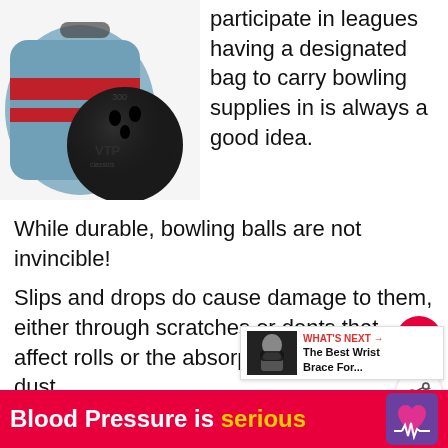[Figure (photo): Bowling ball and bowling bag on white background]
participate in leagues having a designated bag to carry bowling supplies in is always a good idea.
While durable, bowling balls are not invincible!
Slips and drops do cause damage to them, either through scratches or dents that affect rolls or the absorption of dirt and dust in...
[Figure (screenshot): WHAT'S NEXT arrow - The Best Wrist Brace For...]
[Figure (infographic): Blood Pressure is serious ad banner with purple heart icon]